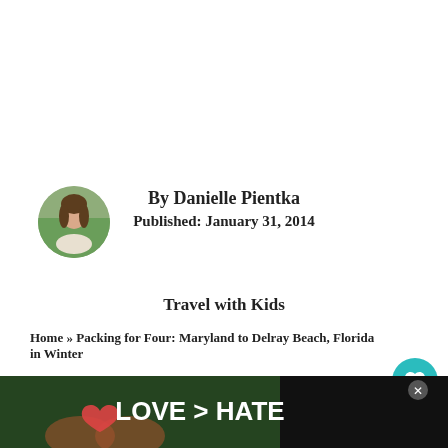[Figure (photo): Round avatar photo of author Danielle Pientka, a woman with brown hair, outdoors]
By Danielle Pientka
Published: January 31, 2014
Travel with Kids
Home » Packing for Four: Maryland to Delray Beach, Florida in Winter
[Figure (photo): Colorful patterned fabric with map/travel theme in brown, blue, green, and yellow colors on a cutting mat]
[Figure (photo): WHAT'S NEXT panel with thumbnail: 10 Nutrient-Packed Gree...]
[Figure (photo): Advertisement banner: LOVE > HATE with hands forming a heart shape]